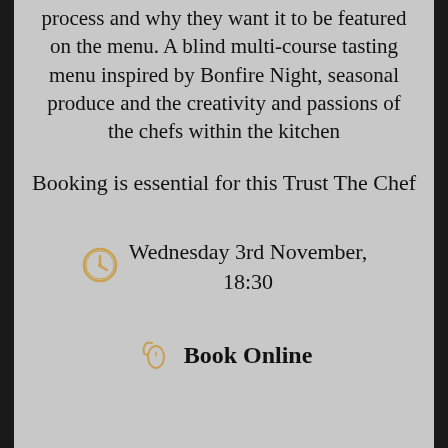process and why they want it to be featured on the menu. A blind multi-course tasting menu inspired by Bonfire Night, seasonal produce and the creativity and passions of the chefs within the kitchen
Booking is essential for this Trust The Chef
Wednesday 3rd November, 18:30
Book Online